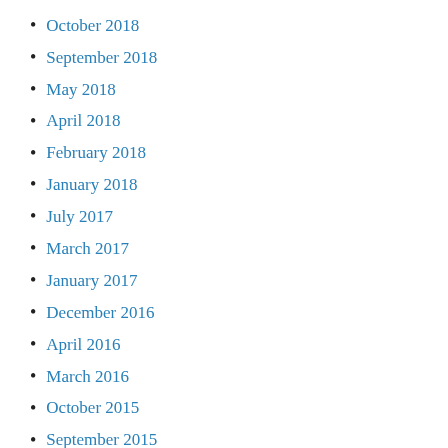October 2018
September 2018
May 2018
April 2018
February 2018
January 2018
July 2017
March 2017
January 2017
December 2016
April 2016
March 2016
October 2015
September 2015
August 2015
June 2015